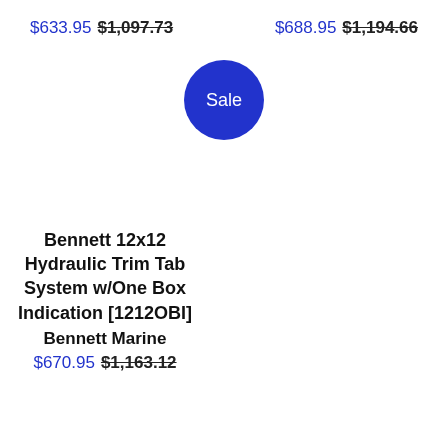$633.95 $1,097.73
$688.95 $1,194.66
[Figure (illustration): Blue circular sale badge with white text reading 'Sale']
Bennett 12x12 Hydraulic Trim Tab System w/One Box Indication [1212OBI]
Bennett Marine
$670.95 $1,163.12